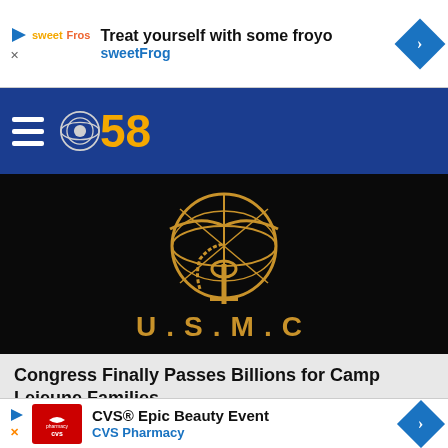[Figure (other): SweetFrog advertisement banner: 'Treat yourself with some froyo' with sweetFrog logo and navigation arrow]
[Figure (logo): CBS 58 news channel logo with hamburger menu icon on dark blue navigation bar]
[Figure (photo): U.S. Marine Corps eagle, globe and anchor emblem in gold on black background with text U.S.M.C.]
Congress Finally Passes Billions for Camp Lejeune Families
Camp Lejeune Lawsuit Settlemen
TOP STORIES
[Figure (other): CVS Pharmacy advertisement: 'CVS® Epic Beauty Event' with CVS pharmacy logo and navigation arrow]
[Figure (other): Partially visible bottom advertisement banner]